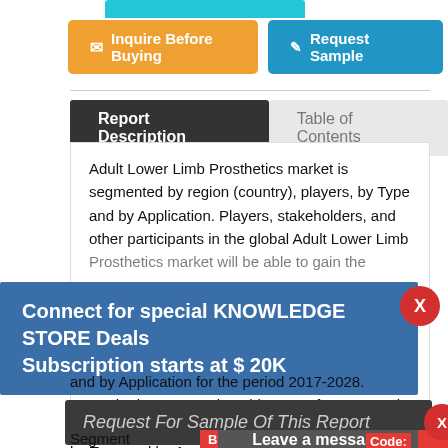Inquire Before Buying
Request Sample
Report Description
Table of Contents
Adult Lower Limb Prosthetics market is segmented by region (country), players, by Type and by Application. Players, stakeholders, and other participants in the global Adult Lower Limb Prosthetics market will be able to gain the...
Connect for special KNOWLEDGE STORE Deals
Subscription starts at $ 20K
and by Application for the period 2017-2028.
For United States market, this report focuses on the Adult Lower Limb Prosthetics market size by players, by Type and by Application, for the period 2017-
Request For Sample Of This Report
Buy Any Report Avail 20%
Leave a message
Code:
Segment